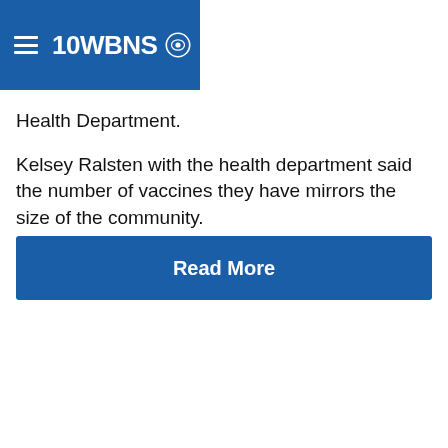10WBNS (CBS)
Health Department.
Kelsey Ralsten with the health department said the number of vaccines they have mirrors the size of the community.
She said there’s only so much space they can store the doses.
“We’re at about 31-32% vaccinated. We do have a large
[Figure (other): Read More button - blue rectangular call-to-action button with white bold text reading 'Read More']